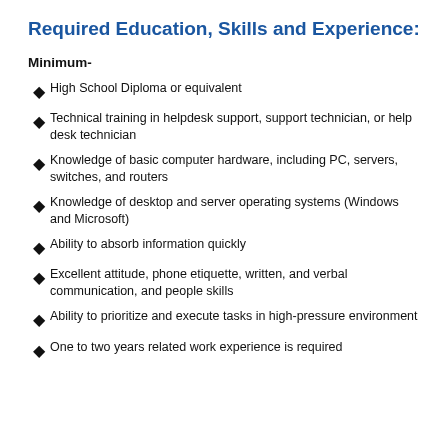Required Education, Skills and Experience:
Minimum-
High School Diploma or equivalent
Technical training in helpdesk support, support technician, or help desk technician
Knowledge of basic computer hardware, including PC, servers, switches, and routers
Knowledge of desktop and server operating systems (Windows and Microsoft)
Ability to absorb information quickly
Excellent attitude, phone etiquette, written, and verbal communication, and people skills
Ability to prioritize and execute tasks in high-pressure environment
One to two years related work experience is required